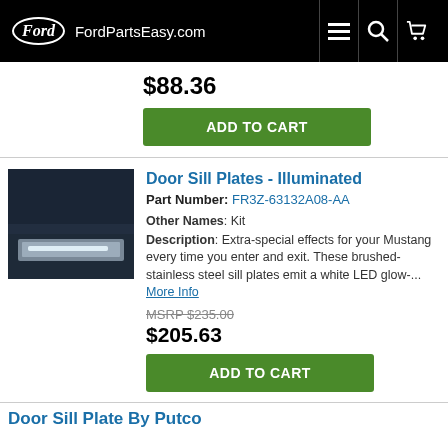Ford FordPartsEasy.com
$88.36
ADD TO CART
Door Sill Plates - Illuminated
Part Number: FR3Z-63132A08-AA
Other Names: Kit
Description: Extra-special effects for your Mustang every time you enter and exit. These brushed-stainless steel sill plates emit a white LED glow-... More Info
MSRP $235.00
$205.63
ADD TO CART
Door Sill Plate By Putco